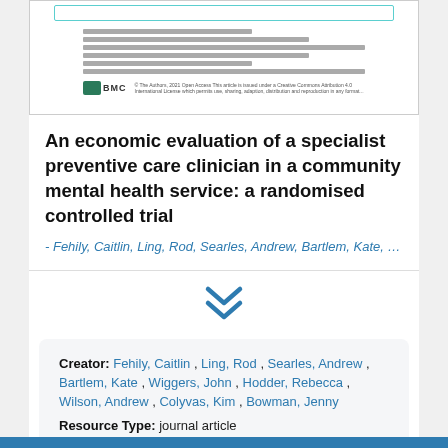[Figure (screenshot): Thumbnail preview of a BMC journal article page showing text lines and the BMC logo]
An economic evaluation of a specialist preventive care clinician in a community mental health service: a randomised controlled trial
- Fehily, Caitlin, Ling, Rod, Searles, Andrew, Bartlem, Kate, …
| Creator: | Fehily, Caitlin , Ling, Rod , Searles, Andrew , Bartlem, Kate , Wiggers, John , Hodder, Rebecca , Wilson, Andrew , Colyvas, Kim , Bowman, Jenny |
| Resource Type: | journal article |
| Date: | 2020 |